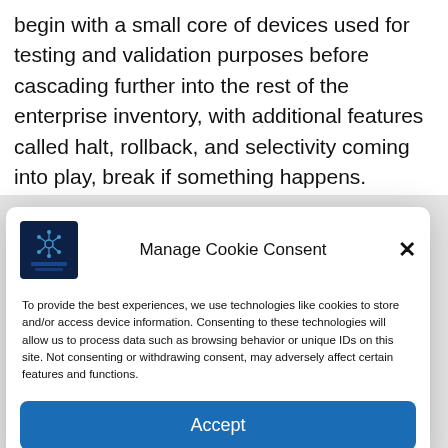begin with a small core of devices used for testing and validation purposes before cascading further into the rest of the enterprise inventory, with additional features called halt, rollback, and selectivity coming into play, break if something happens.
[Figure (screenshot): Cookie consent modal dialog with a logo (dark blue square with a network/spider icon), title 'Manage Cookie Consent', a close X button, body text about cookie usage, and an 'Accept' button.]